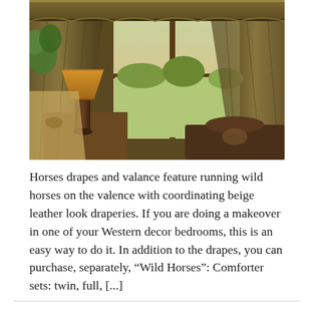[Figure (photo): Interior room photo showing Western-style decor with ornate patterned drapes and valance featuring a running horses motif, a wooden-framed window looking out to a green lawn, a table lamp with amber shade on a dark base, and draped textiles in earthy tones.]
Horses drapes and valance feature running wild horses on the valence with coordinating beige leather look draperies. If you are doing a makeover in one of your Western decor bedrooms, this is an easy way to do it. In addition to the drapes, you can purchase, separately, “Wild Horses”: Comforter sets: twin, full, [...]